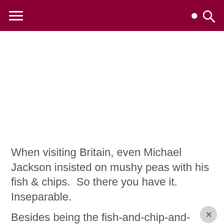Navigation header with menu and search icons
When visiting Britain, even Michael Jackson insisted on mushy peas with his fish & chips.  So there you have it.  Inseparable.
Besides being the fish-and-chip-and-mushy-peas champion, Northern England is home to breathtaking landscapes, stunning historic cities and beautiful villages.  And I can't talk about British food with